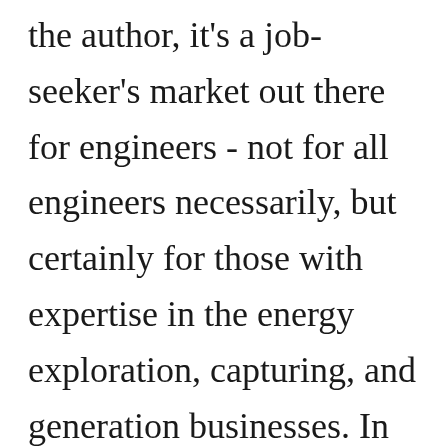the author, it's a job-seeker's market out there for engineers - not for all engineers necessarily, but certainly for those with expertise in the energy exploration, capturing, and generation businesses. In spite of the politicians' best efforts to kill the carbon-based